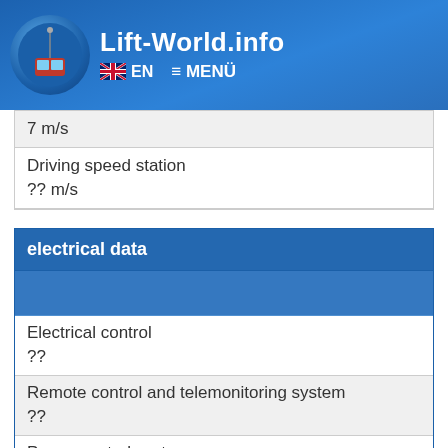Lift-World.info  EN  ≡ MENÜ
| 7 m/s |
| Driving speed station | ?? m/s |
| electrical data |
| --- |
|  |
| Electrical control | ?? |
| Remote control and telemonitoring system | ?? |
| Power control system | ?? |